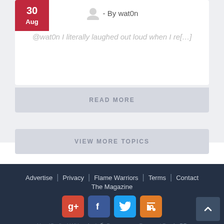- By wat0n
@wat0n I literally laughed out loud when I re[…]
READ MORE
VIEW MORE TOPICS
Advertise   Privacy   Flame Warriors   Terms   Contact   The Magazine
HandCrafted With ♥ And ☕ By noemon - Powered By phpBB
- All times are UTC+01:00 -